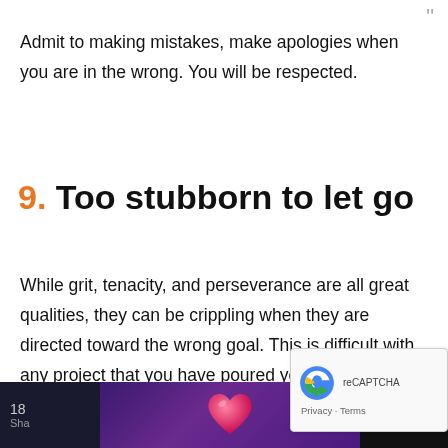Admit to making mistakes, make apologies when you are in the wrong. You will be respected.
9. Too stubborn to let go
While grit, tenacity, and perseverance are all great qualities, they can be crippling when they are directed toward the wrong goal. This is difficult with any project that you have poured your heart and soul into. But if not profitable nor bringing you closer to your goal, then you need to recognize when you are being stubborn and
[Figure (illustration): Footer bar with pink heart on purple gradient background, page number 18, share label, and logo icons on dark background]